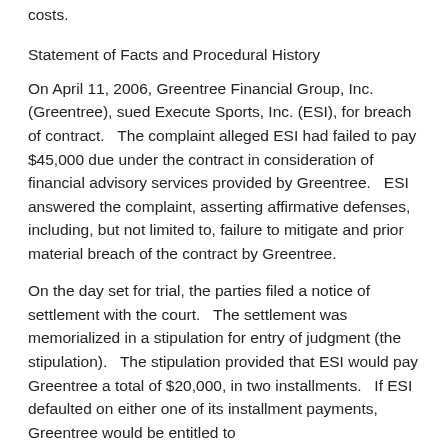costs.
Statement of Facts and Procedural History
On April 11, 2006, Greentree Financial Group, Inc. (Greentree), sued Execute Sports, Inc. (ESI), for breach of contract. The complaint alleged ESI had failed to pay $45,000 due under the contract in consideration of financial advisory services provided by Greentree. ESI answered the complaint, asserting affirmative defenses, including, but not limited to, failure to mitigate and prior material breach of the contract by Greentree.
On the day set for trial, the parties filed a notice of settlement with the court. The settlement was memorialized in a stipulation for entry of judgment (the stipulation). The stipulation provided that ESI would pay Greentree a total of $20,000, in two installments. If ESI defaulted on either one of its installment payments, Greentree would be entitled to